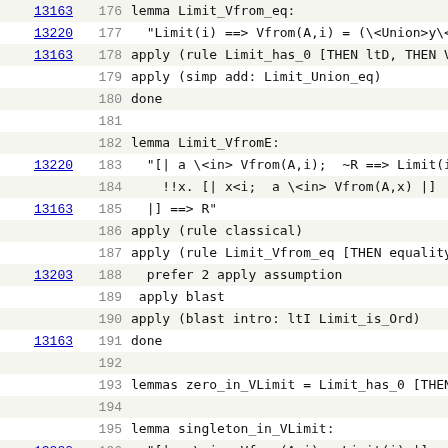| ref | line | code |
| --- | --- | --- |
| 13163 | 176 | lemma Limit_Vfrom_eq: |
| 13220 | 177 |   "Limit(i) ==> Vfrom(A,i) = (\<Union>y\<i |
| 13163 | 178 | apply (rule Limit_has_0 [THEN ltD, THEN Vfr |
|  | 179 | apply (simp add: Limit_Union_eq) |
|  | 180 | done |
|  | 181 |  |
|  | 182 | lemma Limit_VfromE: |
| 13220 | 183 |   "[| a \<in> Vfrom(A,i);  ~R ==> Limit(i) |
|  | 184 |     !!x. [| x<i;  a \<in> Vfrom(A,x) |] |
| 13163 | 185 |   |] ==> R" |
|  | 186 | apply (rule classical) |
|  | 187 | apply (rule Limit_Vfrom_eq [THEN equalityD1, |
| 13203 | 188 |   prefer 2 apply assumption |
|  | 189 |  apply blast |
|  | 190 | apply (blast intro: ltI Limit_is_Ord) |
| 13163 | 191 | done |
|  | 192 |  |
|  | 193 | lemmas zero_in_VLimit = Limit_has_0 [THEN lt |
|  | 194 |  |
|  | 195 | lemma singleton_in_VLimit: |
| 13220 | 196 |   "[| a \<in> Vfrom(A,i);  Limit(i) |] ==> |
| 13163 | 197 | apply (erule Limit_VfromE, assumption) |
| 13203 | 198 | apply (erule singleton_in_Vfrom [THEN Vfrom |